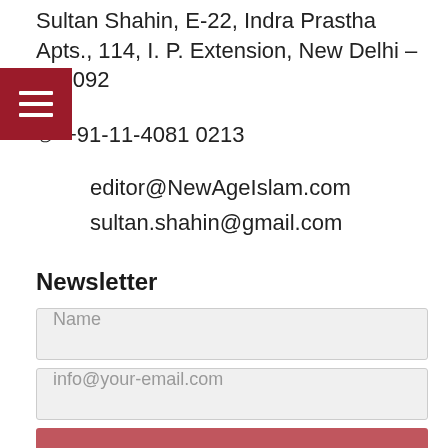Sultan Shahin, E-22, Indra Prastha Apts., 114, I. P. Extension, New Delhi – 110092
☎ +91-11-4081 0213
editor@NewAgeIslam.com
sultan.shahin@gmail.com
Newsletter
Name
info@your-email.com
Submit
Connect with us